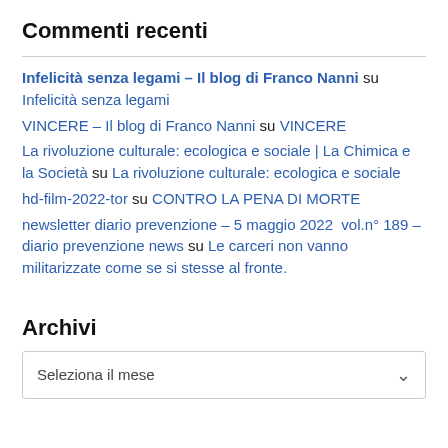Commenti recenti
Infelicità senza legami – Il blog di Franco Nanni su Infelicità senza legami
VINCERE – Il blog di Franco Nanni su VINCERE
La rivoluzione culturale: ecologica e sociale | La Chimica e la Società su La rivoluzione culturale: ecologica e sociale
hd-film-2022-tor su CONTRO LA PENA DI MORTE
newsletter diario prevenzione – 5 maggio 2022  vol.n° 189 – diario prevenzione news su Le carceri non vanno militarizzate come se si stesse al fronte.
Archivi
Seleziona il mese